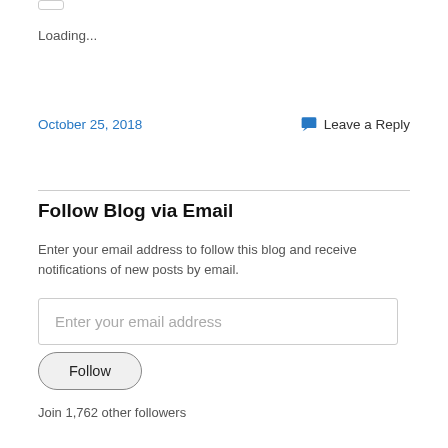Loading...
October 25, 2018
Leave a Reply
Follow Blog via Email
Enter your email address to follow this blog and receive notifications of new posts by email.
Enter your email address
Follow
Join 1,762 other followers